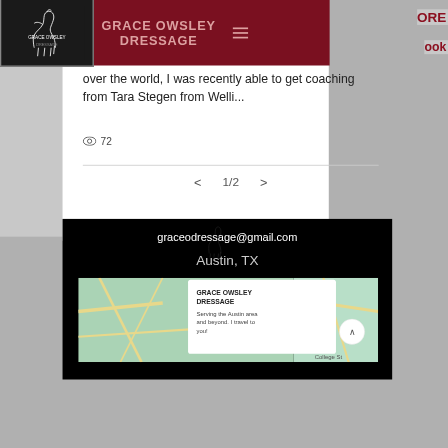[Figure (screenshot): Grace Owsley Dressage website screenshot showing navigation bar with logo and site name, partial blog post text about coaching from Tara Stegen, view count of 72, pagination showing 1/2, and footer section with email graceodressage@gmail.com, location Austin TX, and a Google Maps embed with business info card.]
GRACE OWSLEY DRESSAGE
over the world, I was recently able to get coaching from Tara Stegen from Welli...
72
1/2
graceodressage@gmail.com
Austin, TX
GRACE OWSLEY DRESSAGE
Serving the Austin area and beyond. I travel to you!